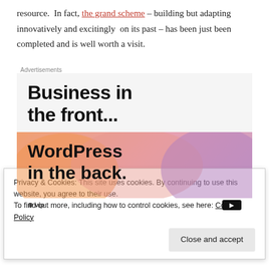resource.  In fact, the grand scheme – building but adapting innovatively and excitingly  on its past – has been just been completed and is well worth a visit.
[Figure (screenshot): Advertisement banner showing 'Business in the front...' text in dark on light gray background, and 'WordPress in the back.' text on a colorful orange/pink/purple gradient background with circular shapes and a WordPress logo at the bottom left.]
Privacy & Cookies: This site uses cookies. By continuing to use this website, you agree to their use.
To find out more, including how to control cookies, see here: Cookie Policy
politics earned it the title, the 'Municipal Mecca'. For